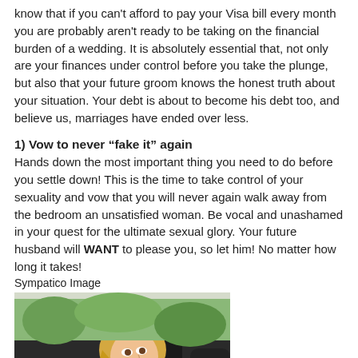know that if you can't afford to pay your Visa bill every month you are probably aren't ready to be taking on the financial burden of a wedding. It is absolutely essential that, not only are your finances under control before you take the plunge, but also that your future groom knows the honest truth about your situation. Your debt is about to become his debt too, and believe us, marriages have ended over less.
1) Vow to never “fake it” again
Hands down the most important thing you need to do before you settle down! This is the time to take control of your sexuality and vow that you will never again walk away from the bedroom an unsatisfied woman. Be vocal and unashamed in your quest for the ultimate sexual glory. Your future husband will WANT to please you, so let him! No matter how long it takes!
Sympatico Image
[Figure (photo): A smiling blonde woman sitting in the driver's seat of a car, looking back over her shoulder, outdoors with green trees visible through the window.]